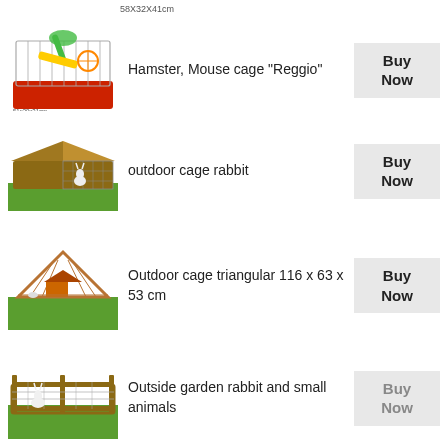58X32X41cm
[Figure (photo): Hamster/mouse cage Reggio - colorful plastic cage with accessories]
Hamster, Mouse cage "Reggio"
Buy Now
[Figure (photo): Outdoor rabbit cage - wooden hutch on grass]
outdoor cage rabbit
Buy Now
[Figure (photo): Triangular outdoor animal cage on grass]
Outdoor cage triangular 116 x 63 x 53 cm
Buy Now
[Figure (photo): Outside garden rabbit enclosure on grass]
Outside garden rabbit and small animals
Buy Now